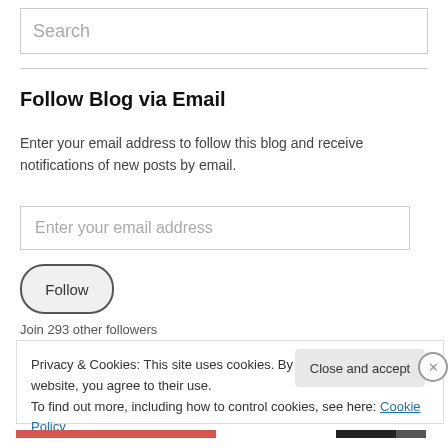Search
Follow Blog via Email
Enter your email address to follow this blog and receive notifications of new posts by email.
Enter your email address
Follow
Join 293 other followers
Privacy & Cookies: This site uses cookies. By continuing to use this website, you agree to their use. To find out more, including how to control cookies, see here: Cookie Policy
Close and accept